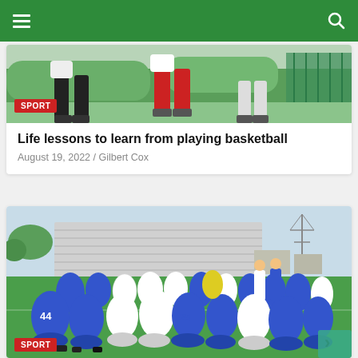Sports news website navigation bar
[Figure (photo): Partial photo of athletes legs running on a sports field, outdoor setting with green fence and trees]
SPORT
Life lessons to learn from playing basketball
August 19, 2022 / Gilbert Cox
[Figure (photo): Football players in blue and white uniforms kneeling in a huddle on a sports field with bleachers in the background, numbers 44, 82, 25 visible on jerseys]
SPORT